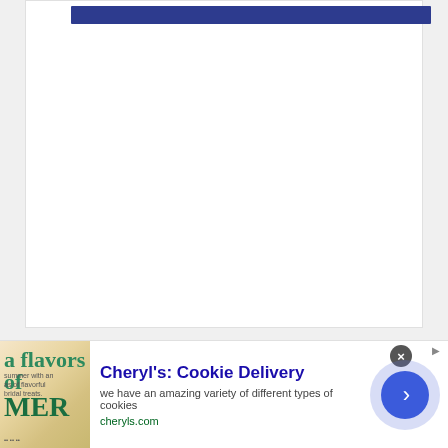[Figure (other): White content area with a dark navy blue horizontal bar near the top, representing a webpage or document header area. The rest of the content area is blank white.]
[Figure (other): Light gray secondary content area below main content.]
[Figure (other): Advertisement banner for Cheryl's Cookie Delivery. Contains a product image on the left with summer cookie imagery, ad title 'Cheryl's: Cookie Delivery', description text 'we have an amazing variety of different types of cookies', URL 'cheryls.com', a close button (X), a navigation arrow button, and an ad info icon.]